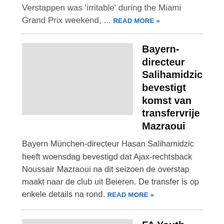Verstappen was 'irritable' during the Miami Grand Prix weekend, ... READ MORE »
Bayern-directeur Salihamidzic bevestigt komst van transfervrije Mazraoui
[Figure (photo): Thumbnail image placeholder for Bayern article]
Bayern München-directeur Hasan Salihamidzic heeft woensdag bevestigd dat Ajax-rechtsback Noussair Mazraoui na dit seizoen de overstap maakt naar de club uit Beieren. De transfer is op enkele details na rond. READ MORE »
FA Youth Cup final: How to watch Manchester United vs Nottingham Forest
[Figure (photo): Thumbnail image placeholder for FA Youth Cup article]